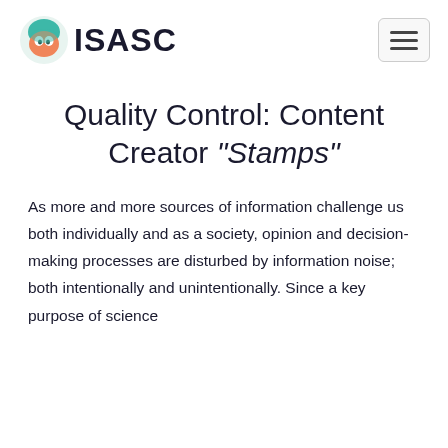ISASC
Quality Control: Content Creator "Stamps"
As more and more sources of information challenge us both individually and as a society, opinion and decision-making processes are disturbed by information noise; both intentionally and unintentionally. Since a key purpose of science